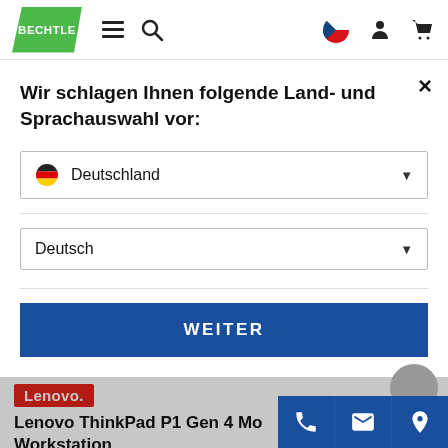[Figure (logo): Bechtle green logo with hamburger menu and search icon in header]
Wir schlagen Ihnen folgende Land- und Sprachauswahl vor:
Deutschland (dropdown)
Deutsch (dropdown)
WEITER
[Figure (logo): Lenovo red logo]
Lenovo ThinkPad P1 Gen 4 Mo… Workstation